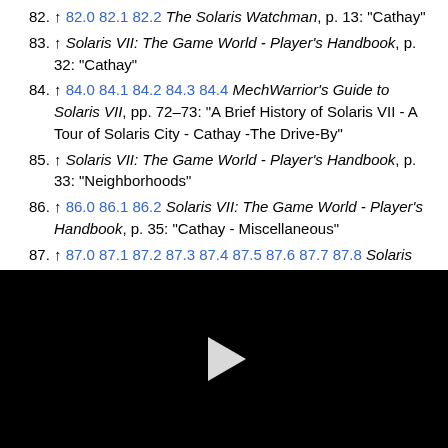82. ↑ 82.0 82.1 82.2 The Solaris Watchman, p. 13: "Cathay"
83. ↑ Solaris VII: The Game World - Player's Handbook, p. 32: "Cathay"
84. ↑ 84.0 84.1 84.2 84.3 84.4 MechWarrior's Guide to Solaris VII, pp. 72–73: "A Brief History of Solaris VII - A Tour of Solaris City - Cathay -The Drive-By"
85. ↑ Solaris VII: The Game World - Player's Handbook, p. 33: "Neighborhoods"
86. ↑ 86.0 86.1 86.2 Solaris VII: The Game World - Player's Handbook, p. 35: "Cathay - Miscellaneous"
87. ↑ 87.0 87.1 87.2 87.3 87.4 87.5 87.6 87.7 87.8 Solaris VII: The Game World - Player's Handbook, pp. 33–35: "Cathay - Entertainment"
[Figure (other): Black video player area with a white play button triangle in the center]